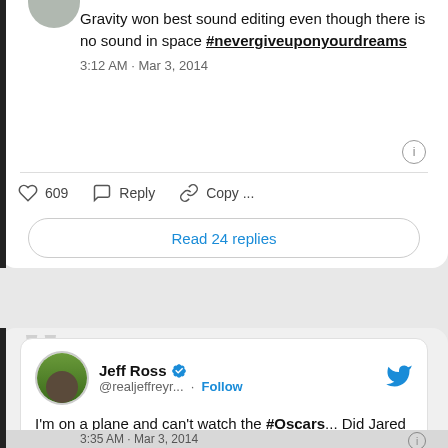Gravity won best sound editing even though there is no sound in space #nevergiveuponyourdreams
3:12 AM · Mar 3, 2014
609  Reply  Copy ...
Read 24 replies
Jeff Ross @realjeffreyr... · Follow
I'm on a plane and can't watch the #Oscars... Did Jared Leto win Best Supporting Actress?
3:35 AM · Mar 3, 2014